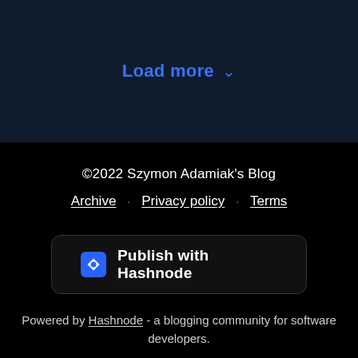Load more ∨
©2022 Szymon Adamiak's Blog
Archive · Privacy policy · Terms
[Figure (logo): Publish with Hashnode button with Hashnode diamond logo]
Powered by Hashnode - a blogging community for software developers.